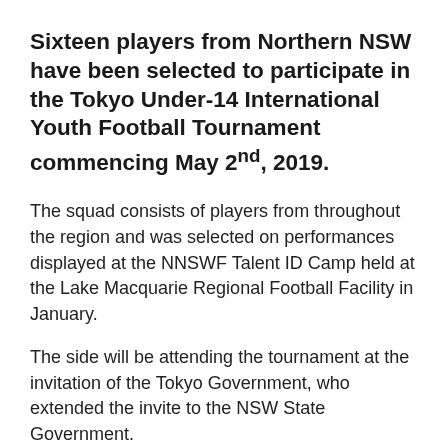Sixteen players from Northern NSW have been selected to participate in the Tokyo Under-14 International Youth Football Tournament commencing May 2nd, 2019.
The squad consists of players from throughout the region and was selected on performances displayed at the NNSWF Talent ID Camp held at the Lake Macquarie Regional Football Facility in January.
The side will be attending the tournament at the invitation of the Tokyo Government, who extended the invite to the NSW State Government.
Northern NSW Football Technical Advisor, Leo Bertos, who will be travelling along with the